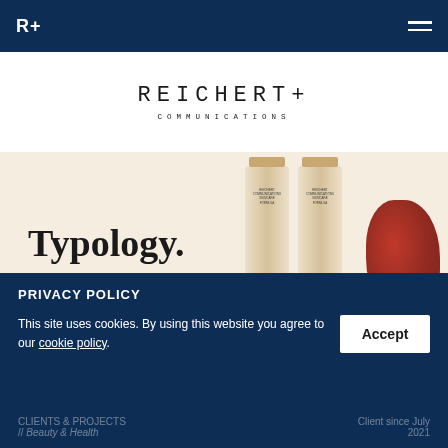R+
REICHERT+ COMMUNICATIONS
[Figure (photo): Typology skincare brand image showing cream-coloured product tubes and natural ingredients (red cactus fruit, raspberry, fig) on a warm beige background with bold 'Typology.' text.]
PRIVACY POLICY
This site uses cookies. By using this website you agree to our cookie policy.
CLIENTS & PROJECTS // Beauty & Health
Client since July 2021